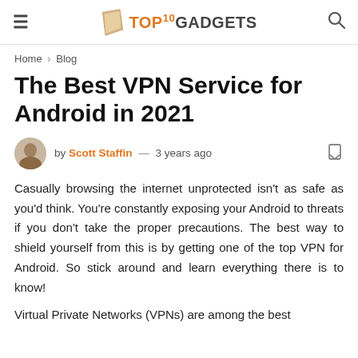TOP10GADGETS
Home › Blog
The Best VPN Service for Android in 2021
by Scott Staffin — 3 years ago
Casually browsing the internet unprotected isn't as safe as you'd think. You're constantly exposing your Android to threats if you don't take the proper precautions. The best way to shield yourself from this is by getting one of the top VPN for Android. So stick around and learn everything there is to know!
Virtual Private Networks (VPNs) are among the best